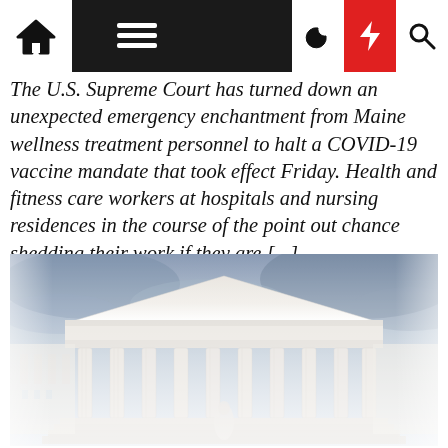[Navigation bar with home, menu, dark mode, breaking news, and search icons]
The U.S. Supreme Court has turned down an unexpected emergency enchantment from Maine wellness treatment personnel to halt a COVID-19 vaccine mandate that took effect Friday. Health and fitness care workers at hospitals and nursing residences in the course of the point out chance shedding their work if they are [...]
[Figure (photo): Photo of the U.S. Supreme Court building with white marble columns and steps under a dramatic cloudy sky, with a statue visible at the base of the steps.]